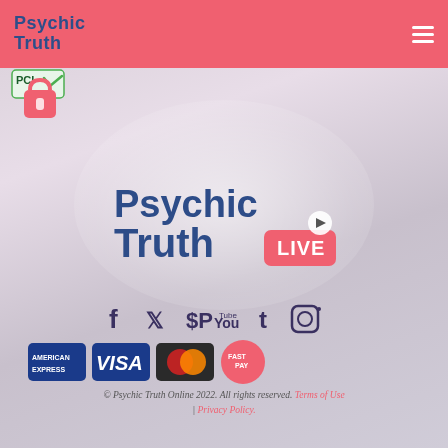Psychic Truth
[Figure (logo): PCI compliance badge with green checkmark and pink padlock icon]
[Figure (logo): Psychic Truth LIVE logo - large bold blue text with pink LIVE badge and play button icon]
[Figure (infographic): Social media icons row: Facebook, Twitter, Pinterest, YouTube, Tumblr, Instagram in dark blue]
[Figure (infographic): Payment method badges: American Express, Visa, Mastercard, FastPay]
© Psychic Truth Online 2022. All rights reserved. Terms of Use | Privacy Policy.